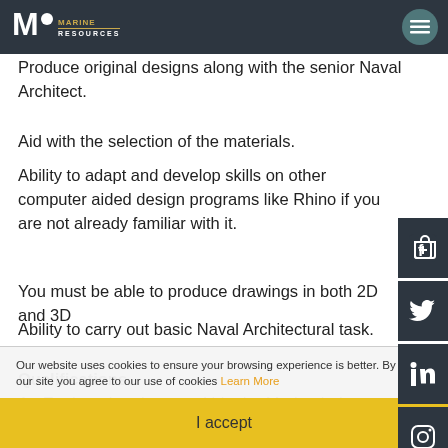Marine Resources — navigation header
To be able to work to strict deadlines and produce detailed documentation
Produce original designs along with the senior Naval Architect.
Aid with the selection of the materials.
Ability to adapt and develop skills on other computer aided design programs like Rhino if you are not already familiar with it.
You must be able to produce drawings in both 2D and 3D
Ability to carry out basic Naval Architectural task.
Qualifications.
An Engineering degree within the Marine industry, Aerospace, Automotive or Mechanical engineering
To learn more about this exciting opportunity please
Our website uses cookies to ensure your browsing experience is better. By using our site you agree to our use of cookies Learn More
I accept